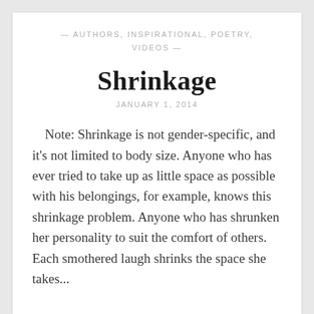— AUTHORS, INSPIRATIONAL, POETRY, VIDEOS —
Shrinkage
JANUARY 1, 2014
Note: Shrinkage is not gender-specific, and it's not limited to body size. Anyone who has ever tried to take up as little space as possible with his belongings, for example, knows this shrinkage problem. Anyone who has shrunken her personality to suit the comfort of others. Each smothered laugh shrinks the space she takes...